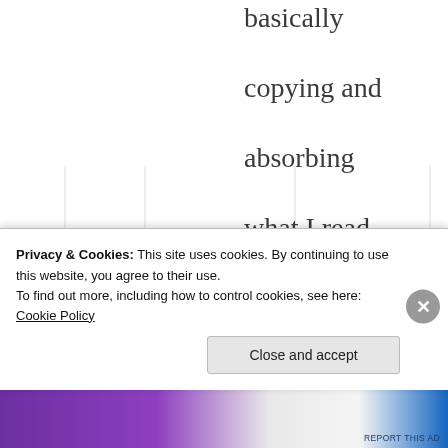basically copying and absorbing what I read. I never mastered the rules, but somehow I seemed to know them well enough
Privacy & Cookies: This site uses cookies. By continuing to use this website, you agree to their use. To find out more, including how to control cookies, see here: Cookie Policy
Close and accept